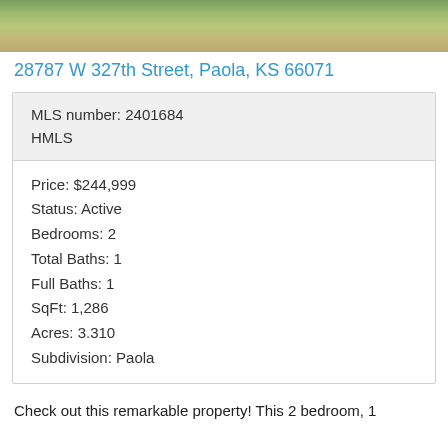[Figure (photo): Aerial/exterior photo of property with grass and driveway, cropped at top of page]
28787 W 327th Street, Paola, KS 66071
| MLS number: 2401684 |
| HMLS |
| Price: $244,999 |
| Status: Active |
| Bedrooms: 2 |
| Total Baths: 1 |
| Full Baths: 1 |
| SqFt: 1,286 |
| Acres: 3.310 |
| Subdivision: Paola |
Check out this remarkable property! This 2 bedroom, 1